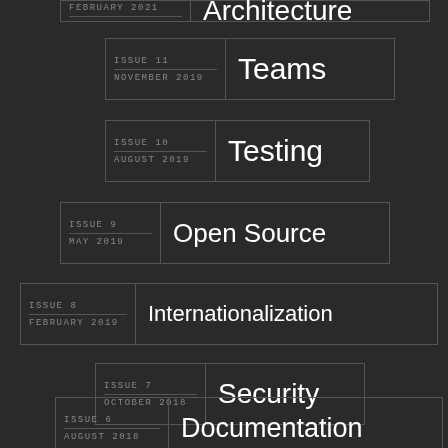ISSUE 11 | NOVEMBER 2019 | Teams
ISSUE 10 | AUGUST 2019 | Testing
ISSUE 9 | MAY 2019 | Open Source
ISSUE 8 | FEBRUARY 2019 | Internationalization
ISSUE 7 | OCTOBER 2018 | Security
ISSUE 6 | AUGUST 2018 | Documentation